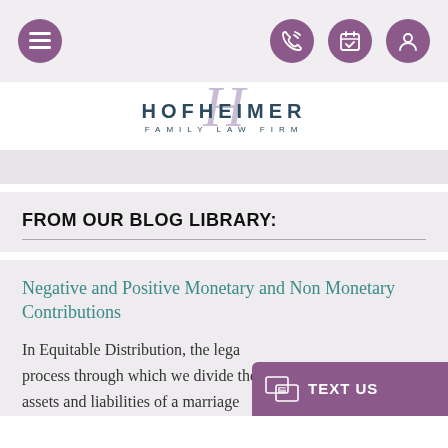Navigation bar with menu, phone, calendar, and profile icons
[Figure (logo): Hofheimer Family Law Firm logo with decorative script H and text HOFHEIMER FAMILY LAW FIRM]
FROM OUR BLOG LIBRARY:
Negative and Positive Monetary and Non Monetary Contributions
In Equitable Distribution, the legal process through which we divide the assets and liabilities of a marriage